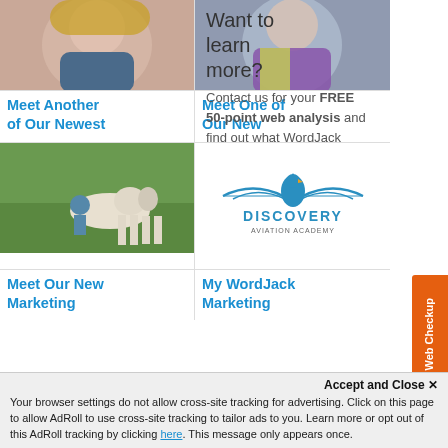[Figure (photo): Photo of a young woman with blonde hair]
[Figure (photo): Photo of a person in a purple/colorful top]
Want to learn more?
Contact us for your FREE 50-point web analysis and find out what WordJack can do for your business.
Meet Another of Our Newest
Meet One of Our New
[Figure (photo): Photo of a person riding a white horse in a green field]
[Figure (logo): Discovery Aviation Academy logo with eagle graphic]
Meet Our New Marketing
My WordJack Marketing
can do for your business.
Name *
Accept and Close ✕
Your browser settings do not allow cross-site tracking for advertising. Click on this page to allow AdRoll to use cross-site tracking to tailor ads to you. Learn more or opt out of this AdRoll tracking by clicking here. This message only appears once.